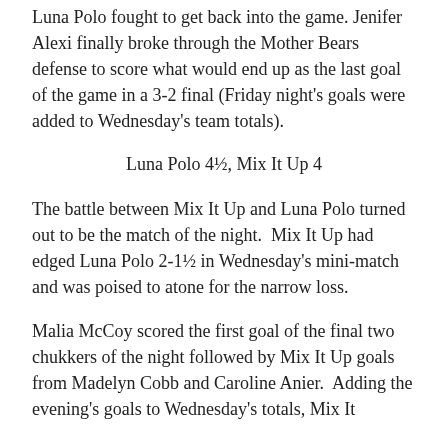Luna Polo fought to get back into the game. Jenifer Alexi finally broke through the Mother Bears defense to score what would end up as the last goal of the game in a 3-2 final (Friday night's goals were added to Wednesday's team totals).
Luna Polo 4½, Mix It Up 4
The battle between Mix It Up and Luna Polo turned out to be the match of the night.  Mix It Up had edged Luna Polo 2-1½ in Wednesday's mini-match and was poised to atone for the narrow loss.
Malia McCoy scored the first goal of the final two chukkers of the night followed by Mix It Up goals from Madelyn Cobb and Caroline Anier.  Adding the evening's goals to Wednesday's totals, Mix It